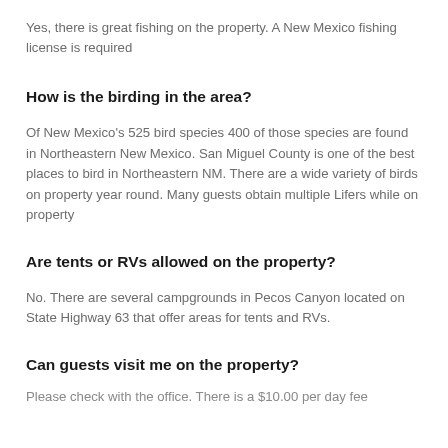Yes, there is great fishing on the property. A New Mexico fishing license is required
How is the birding in the area?
Of New Mexico's 525 bird species 400 of those species are found in Northeastern New Mexico. San Miguel County is one of the best places to bird in Northeastern NM. There are a wide variety of birds on property year round. Many guests obtain multiple Lifers while on property
Are tents or RVs allowed on the property?
No. There are several campgrounds in Pecos Canyon located on State Highway 63 that offer areas for tents and RVs.
Can guests visit me on the property?
Please check with the office. There is a $10.00 per day fee